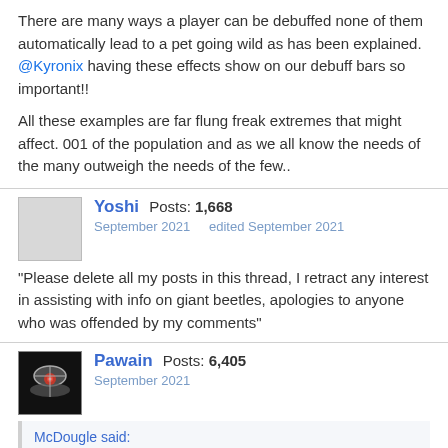There are many ways a player can be debuffed none of them automatically lead to a pet going wild as has been explained. @Kyronix having these effects show on our debuff bars so important!!
All these examples are far flung freak extremes that might affect. 001 of the population and as we all know the needs of the many outweigh the needs of the few..
Yoshi Posts: 1,668 September 2021 edited September 2021
“Please delete all my posts in this thread, I retract any interest in assisting with info on giant beetles, apologies to anyone who was offended by my comments”
Pawain Posts: 6,405 September 2021
McDougle said: If your relationship with your SO is this poor you have far worse things to worry about and should take time away from UO ...